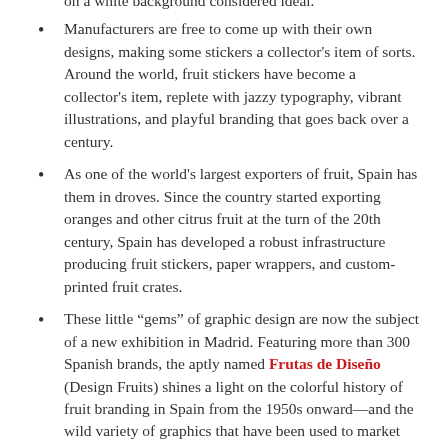on a white background considered ideal.
Manufacturers are free to come up with their own designs, making some stickers a collector's item of sorts. Around the world, fruit stickers have become a collector's item, replete with jazzy typography, vibrant illustrations, and playful branding that goes back over a century.
As one of the world's largest exporters of fruit, Spain has them in droves. Since the country started exporting oranges and other citrus fruit at the turn of the 20th century, Spain has developed a robust infrastructure producing fruit stickers, paper wrappers, and custom-printed fruit crates.
These little “gems” of graphic design are now the subject of a new exhibition in Madrid. Featuring more than 300 Spanish brands, the aptly named Frutas de Diseño (Design Fruits) shines a light on the colorful history of fruit branding in Spain from the 1950s onward—and the wild variety of graphics that have been used to market fruits there and abroad.
The exhibition is located in CentroCentro, a striking cultural